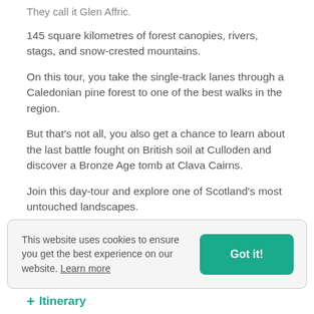They call it Glen Affric.
145 square kilometres of forest canopies, rivers, stags, and snow-crested mountains.
On this tour, you take the single-track lanes through a Caledonian pine forest to one of the best walks in the region.
But that's not all, you also get a chance to learn about the last battle fought on British soil at Culloden and discover a Bronze Age tomb at Clava Cairns.
Join this day-tour and explore one of Scotland's most untouched landscapes.
This website uses cookies to ensure you get the best experience on our website. Learn more
+ Itinerary